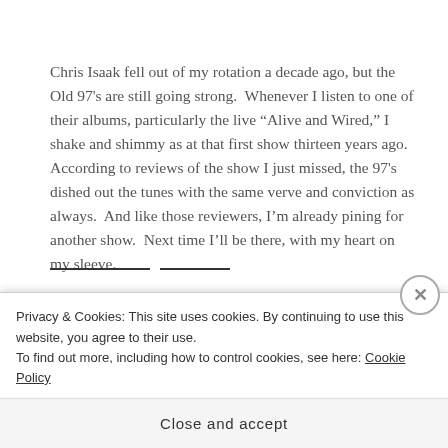Chris Isaak fell out of my rotation a decade ago, but the Old 97's are still going strong. Whenever I listen to one of their albums, particularly the live “Alive and Wired,” I shake and shimmy as at that first show thirteen years ago. According to reviews of the show I just missed, the 97's dished out the tunes with the same verve and conviction as always. And like those reviewers, I’m already pining for another show. Next time I’ll be there, with my heart on my sleeve.
Privacy & Cookies: This site uses cookies. By continuing to use this website, you agree to their use.
To find out more, including how to control cookies, see here: Cookie Policy
Close and accept